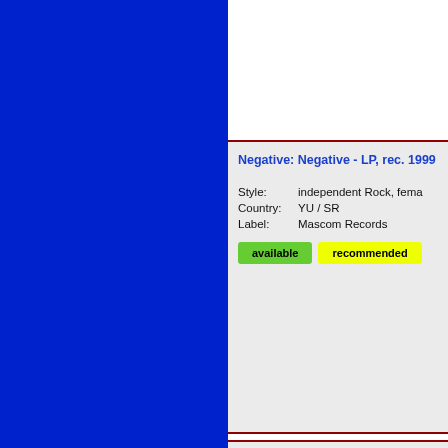Negative: Negative - LP, rec. 1999
Style: independent Rock, fema
Country: YU / SR
Label: Mascom Records
available   recommended
Nežni Dalibor: Normalan život - CD
Style: independent Rock
Country: YU / SR
Label: Odlican Hrcak
available   recommended